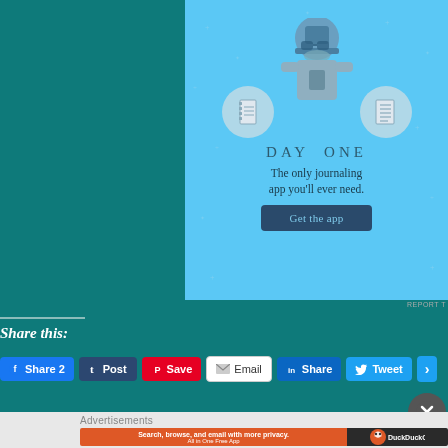[Figure (illustration): Day One journaling app advertisement with light blue background, star speckles, illustrated person figure with notebook icons, text 'DAY ONE', 'The only journaling app you'll ever need.', and a dark 'Get the app' button]
REPORT T
Share this:
Share 2
Post
Save
Email
Share
Tweet
Advertisements
[Figure (screenshot): DuckDuckGo advertisement banner: orange-red left side with text 'Search, browse, and email with more privacy. All in One Free App', dark right side with DuckDuckGo logo]